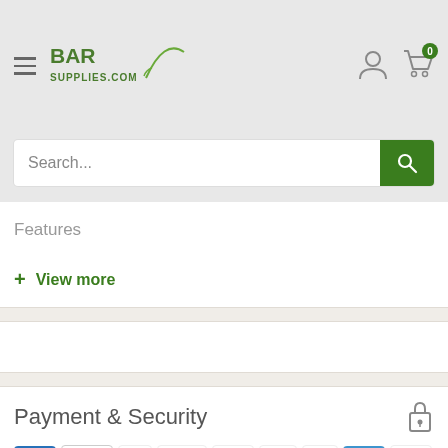[Figure (logo): BarSupplies.com logo with hamburger menu, user icon, and cart icon showing 0 items]
Search...
Features
+ View more
Payment & Security
[Figure (infographic): Row of payment method icons: American Express, Apple Pay, Diners Club, Discover, Google Pay, Mastercard, PayPal, Venmo, Visa]